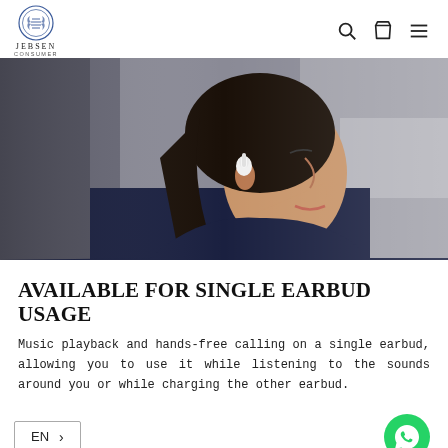JEBSEN CONSUMER — navigation with search, cart, menu icons
[Figure (photo): Side profile of a young Asian woman wearing a white wireless earbud in her right ear, wearing a dark navy jacket, blurred background with soft lighting]
AVAILABLE FOR SINGLE EARBUD USAGE
Music playback and hands-free calling on a single earbud, allowing you to use it while listening to the sounds around you or while charging the other earbud.
EN > | WhatsApp contact button